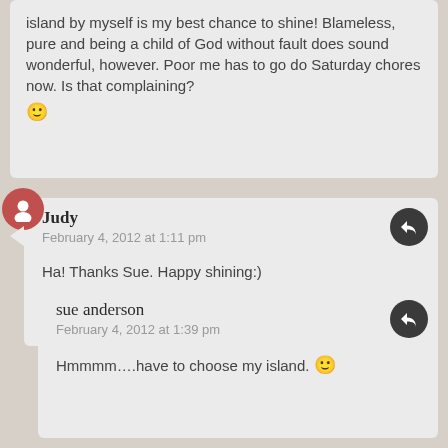island by myself is my best chance to shine! Blameless, pure and being a child of God without fault does sound wonderful, however. Poor me has to go do Saturday chores now. Is that complaining? 🙂
Judy
February 4, 2012 at 1:11 pm

Ha! Thanks Sue. Happy shining:)
sue anderson
February 4, 2012 at 1:39 pm

Hmmmm….have to choose my island. 🙂